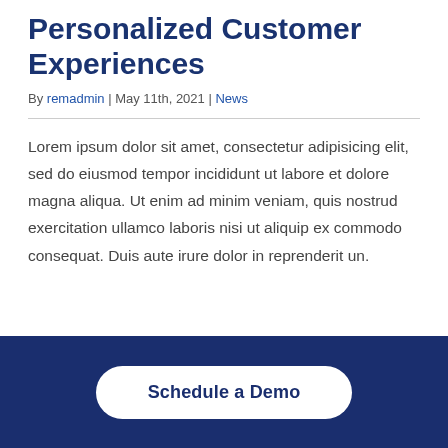Personalized Customer Experiences
By remadmin | May 11th, 2021 | News
Lorem ipsum dolor sit amet, consectetur adipisicing elit, sed do eiusmod tempor incididunt ut labore et dolore magna aliqua. Ut enim ad minim veniam, quis nostrud exercitation ullamco laboris nisi ut aliquip ex commodo consequat. Duis aute irure dolor in reprenderit un.
Schedule a Demo